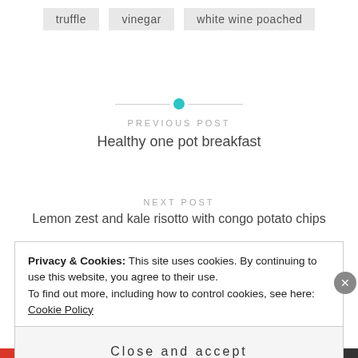truffle
vinegar
white wine poached
[Figure (other): Horizontal divider line with teal circle dot in the center]
PREVIOUS POST
Healthy one pot breakfast
NEXT POST
Lemon zest and kale risotto with congo potato chips
Privacy & Cookies: This site uses cookies. By continuing to use this website, you agree to their use.
To find out more, including how to control cookies, see here: Cookie Policy
Close and accept